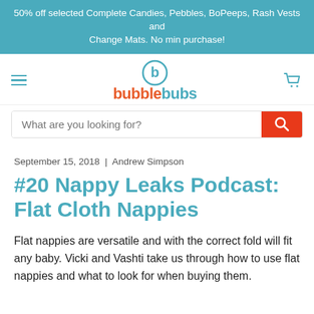50% off selected Complete Candies, Pebbles, BoPeeps, Rash Vests and Change Mats. No min purchase!
[Figure (logo): BubbleBubs logo with hamburger menu and cart icon]
September 15, 2018 | Andrew Simpson
#20 Nappy Leaks Podcast: Flat Cloth Nappies
Flat nappies are versatile and with the correct fold will fit any baby. Vicki and Vashti take us through how to use flat nappies and what to look for when buying them.